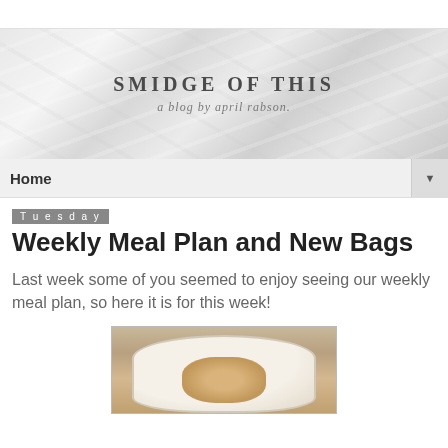[Figure (photo): Blog banner with marble texture background, site title 'SMIDGE OF THIS' and subtitle 'a blog by april rabson.']
Home ▼
Tuesday
Weekly Meal Plan and New Bags
Last week some of you seemed to enjoy seeing our weekly meal plan, so here it is for this week!
[Figure (photo): Photo of a plate of food on a decorative table setting]